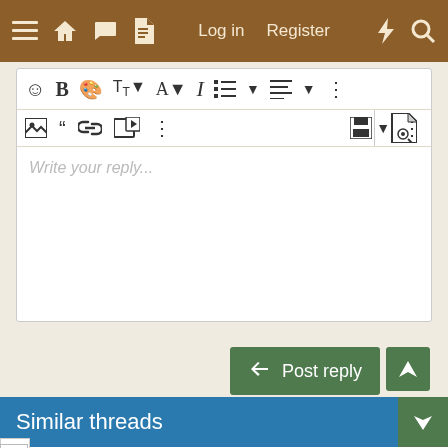[Figure (screenshot): Website navigation bar with brown background, hamburger menu, home, chat, document icons on left; Log in and Register links in center; lightning bolt and search icons on right]
[Figure (screenshot): Rich text editor toolbar with emoji, bold, palette, font size, text color, italic, list, alignment, more options icons in first row; image, quote, link, media, more, save, more, and preview icons in second row; placeholder text 'Write your reply...' in editor area]
[Figure (screenshot): Green 'Post reply' button with reply arrow icon]
Similar threads
Feed question for 6-7 week old chicks
WaveyCreekChickens · Raising Baby Chicks
Replies: 19 · Jun 27, 2022